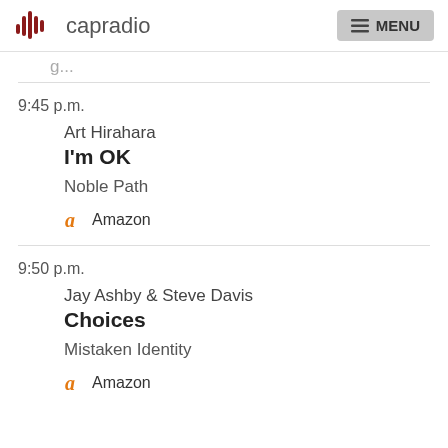capradio | MENU
9:45 p.m.
Art Hirahara
I'm OK
Noble Path
Amazon
9:50 p.m.
Jay Ashby & Steve Davis
Choices
Mistaken Identity
Amazon